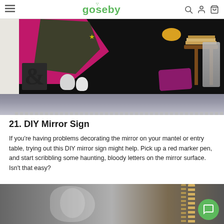gosseby — navigation bar with hamburger menu, logo, search, account, and cart icons
[Figure (photo): A dark decorative tapestry hung on a white brick wall featuring pink/magenta floral and silhouette art with a star and moon motif. Below the tapestry are decorative items including a large ampersand sculpture, white vases, books on a wooden side table draped with a grey throw blanket, and a purple velvet pillow on the floor. A grey textured rug is visible in the foreground.]
21. DIY Mirror Sign
If you’re having problems decorating the mirror on your mantel or entry table, trying out this DIY mirror sign might help. Pick up a red marker pen, and start scribbling some haunting, bloody letters on the mirror surface. Isn’t that easy?
[Figure (photo): Partial view of another decorative Halloween or gothic interior scene, showing dark tones with white ornamental sculptures and chandelier-style beaded elements.]